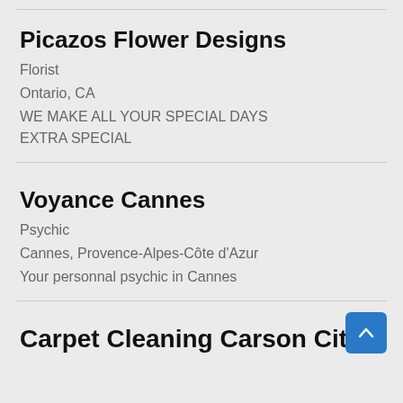Picazos Flower Designs
Florist
Ontario, CA
WE MAKE ALL YOUR SPECIAL DAYS EXTRA SPECIAL
Voyance Cannes
Psychic
Cannes, Provence-Alpes-Côte d'Azur
Your personnal psychic in Cannes
Carpet Cleaning Carson City